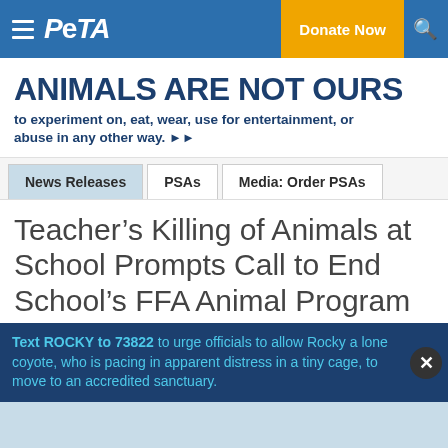PETA — Donate Now
ANIMALS ARE NOT OURS
to experiment on, eat, wear, use for entertainment, or abuse in any other way.
News Releases | PSAs | Media: Order PSAs
Teacher's Killing of Animals at School Prompts Call to End School's FFA Animal Program
Text ROCKY to 73822 to urge officials to allow Rocky a lone coyote, who is pacing in apparent distress in a tiny cage, to move to an accredited sanctuary.